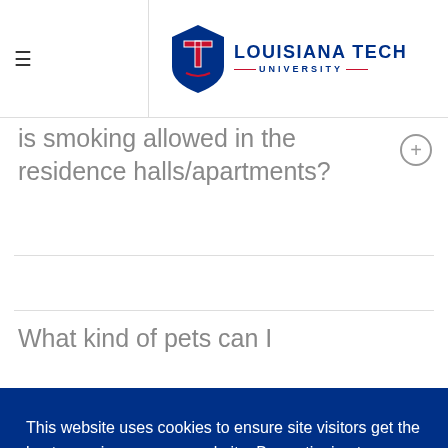Louisiana Tech University
is smoking allowed in the residence halls/apartments?
What kind of pets can I
This website uses cookies to ensure site visitors get the best experience on our website. By continuing to use this site, you accept our use of cookies and Privacy Statement. Learn more
I AGREE